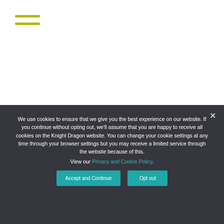[Figure (other): Hamburger menu icon with two horizontal yellow/olive lines in top-left corner of white section]
We use cookies to ensure that we give you the best experience on our website. If you continue without opting out, we'll assume that you are happy to receive all cookies on the Knight Dragon website. You can change your cookie settings at any time through your browser settings but you may receive a limited service through the website because of this.
View our Privacy and Cookie Policy.
Accept and Continue
Opt out